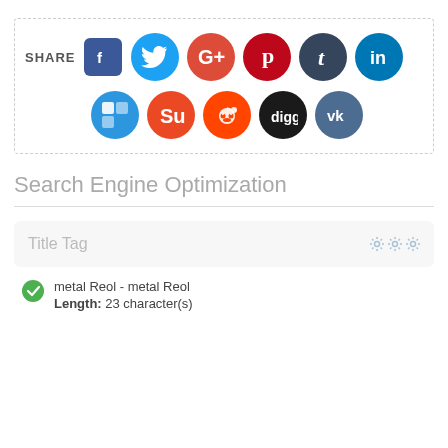[Figure (infographic): Social media share widget with icons for Facebook, Twitter, Google+, Pinterest, Tumblr, LinkedIn, ShareThis, StumbleUpon, Reddit, Digg, and VK]
Search Engine Optimization
Title Tag
metal Reol - metal Reol
Length: 23 character(s)